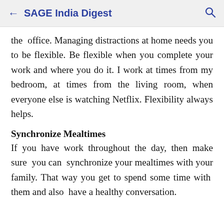← SAGE India Digest
the office. Managing distractions at home needs you to be flexible. Be flexible when you complete your work and where you do it. I work at times from my bedroom, at times from the living room, when everyone else is watching Netflix. Flexibility always helps.
Synchronize Mealtimes
If you have work throughout the day, then make sure you can synchronize your mealtimes with your family. That way you get to spend some time with them and also have a healthy conversation.